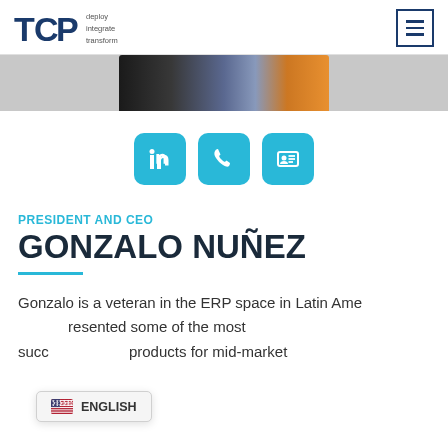TCP deploy integrate transform
[Figure (photo): Partial photo of a person in a blue checkered shirt with an orange element visible, dark background, cropped at top of page]
[Figure (infographic): Three teal/cyan rounded square icons: LinkedIn icon, phone/call icon, and contact card icon]
PRESIDENT AND CEO
GONZALO NUÑEZ
Gonzalo is a veteran in the ERP space in Latin America and has represented some of the most succ... products for mid-market
[Figure (infographic): Language selector badge showing US flag and text ENGLISH]